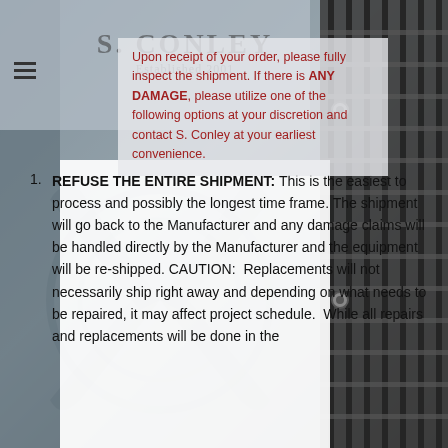[Figure (photo): Close-up photo of an industrial fan/HVAC equipment with metal grill and blades, used as page background]
Upon receipt of your order, please fully inspect the shipment. If there is ANY DAMAGE, please utilize one of the following options at your discretion and contact S. Conley at your earliest convenience.
REFUSE THE ENTIRE SHIPMENT: This is the easiest to process and possibly the longest time frame. The shipment will go back to the Manufacturer and any damage claims will be handled directly by the Manufacturer and the equipment will be re-shipped. CAUTION: Replacements will not necessarily ship right away and depending on what needs to be repaired, it may affect project schedule. While all repairs and replacements will be done in the